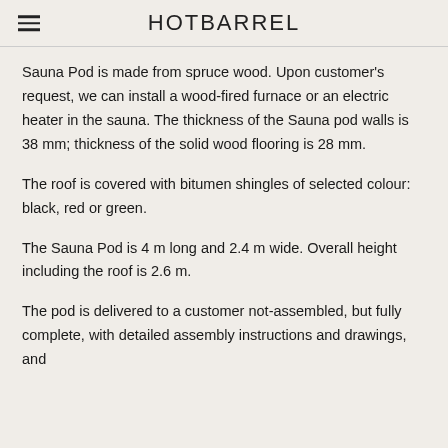HOTBARREL
Sauna Pod is made from spruce wood. Upon customer's request, we can install a wood-fired furnace or an electric heater in the sauna. The thickness of the Sauna pod walls is 38 mm; thickness of the solid wood flooring is 28 mm.
The roof is covered with bitumen shingles of selected colour: black, red or green.
The Sauna Pod is 4 m long and 2.4 m wide. Overall height including the roof is 2.6 m.
The pod is delivered to a customer not-assembled, but fully complete, with detailed assembly instructions and drawings, and